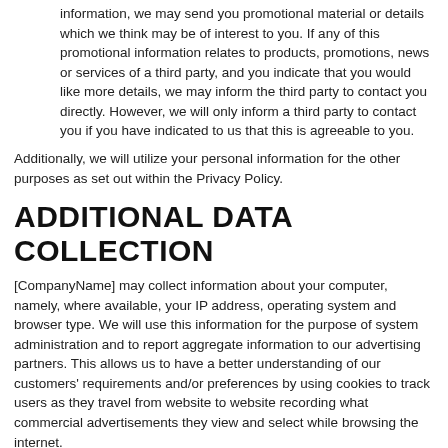information, we may send you promotional material or details which we think may be of interest to you. If any of this promotional information relates to products, promotions, news or services of a third party, and you indicate that you would like more details, we may inform the third party to contact you directly. However, we will only inform a third party to contact you if you have indicated to us that this is agreeable to you.
Additionally, we will utilize your personal information for the other purposes as set out within the Privacy Policy.
ADDITIONAL DATA COLLECTION
[CompanyName] may collect information about your computer, namely, where available, your IP address, operating system and browser type. We will use this information for the purpose of system administration and to report aggregate information to our advertising partners. This allows us to have a better understanding of our customers' requirements and/or preferences by using cookies to track users as they travel from website to website recording what commercial advertisements they view and select while browsing the internet.